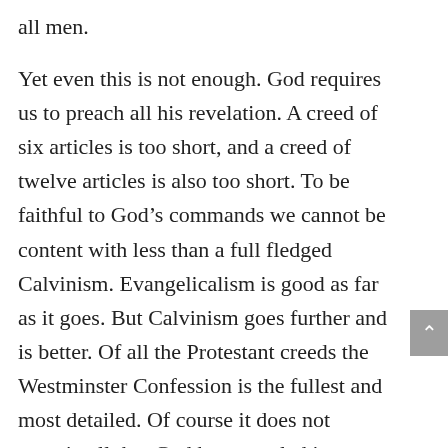all men.
Yet even this is not enough. God requires us to preach all his revelation. A creed of six articles is too short, and a creed of twelve articles is also too short. To be faithful to God’s commands we cannot be content with less than a full fledged Calvinism. Evangelicalism is good as far as it goes. But Calvinism goes further and is better. Of all the Protestant creeds the Westminster Confession is the fullest and most detailed. Of course it does not contain all that God has revealed in Scripture, but it contains and systematizes more than any other creed. We might wish to add to it, were we properly qualified to do so, but we cannot wish to subtract from it.
Let us then in this adulterous and sinful